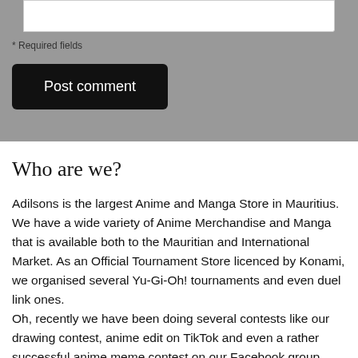* Required fields
Post comment
Who are we?
Adilsons is the largest Anime and Manga Store in Mauritius. We have a wide variety of Anime Merchandise and Manga that is available both to the Mauritian and International Market. As an Official Tournament Store licenced by Konami, we organised several Yu-Gi-Oh! tournaments and even duel link ones.
Oh, recently we have been doing several contests like our drawing contest, anime edit on TikTok and even a rather successful anime meme contest on our Facebook group.
Join us to live your passion